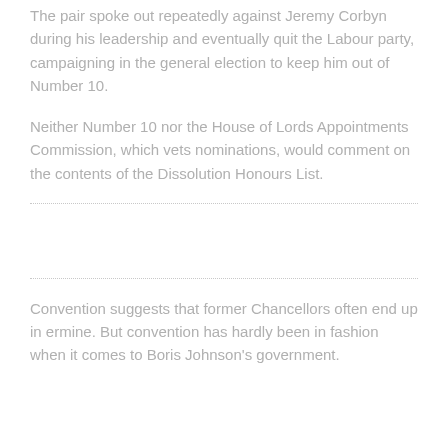The pair spoke out repeatedly against Jeremy Corbyn during his leadership and eventually quit the Labour party, campaigning in the general election to keep him out of Number 10.
Neither Number 10 nor the House of Lords Appointments Commission, which vets nominations, would comment on the contents of the Dissolution Honours List.
Convention suggests that former Chancellors often end up in ermine. But convention has hardly been in fashion when it comes to Boris Johnson’s government.